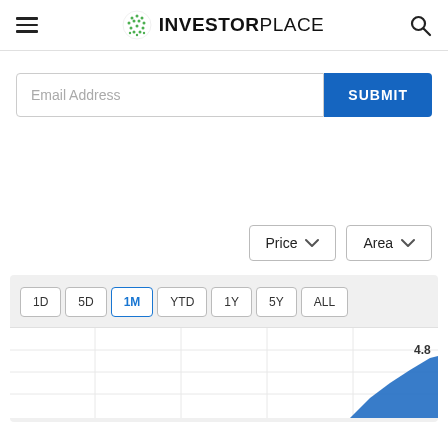InvestorPlace
Email Address
SUBMIT
Price ∨
Area ∨
[Figure (screenshot): Stock chart time-range tab bar with tabs: 1D, 5D, 1M (active/selected in blue), YTD, 1Y, 5Y, ALL, on a light gray background. Below the tabs is a partial area chart showing a price line with a value of 4.8 visible at bottom right.]